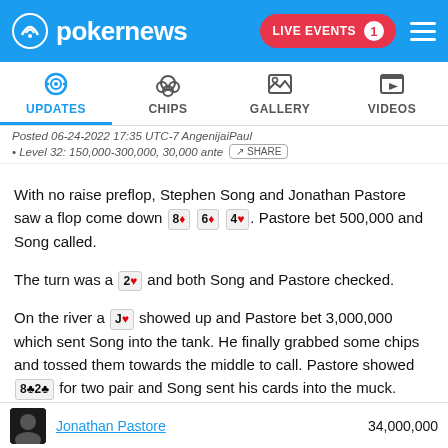pokernews — LIVE EVENTS 1
UPDATES | CHIPS | GALLERY | VIDEOS
Posted 06-24-2022 17:35 UTC-7 AngenijaiPaul
• Level 32: 150,000-300,000, 30,000 ante  [SHARE]
With no raise preflop, Stephen Song and Jonathan Pastore saw a flop come down 8♦ 6♦ 4♥. Pastore bet 500,000 and Song called.
The turn was a 2♥ and both Song and Pastore checked.
On the river a J♥ showed up and Pastore bet 3,000,000 which sent Song into the tank. He finally grabbed some chips and tossed them towards the middle to call. Pastore showed 8♣ 2♣ for two pair and Song sent his cards into the muck.
Jonathan Pastore   34,000,000